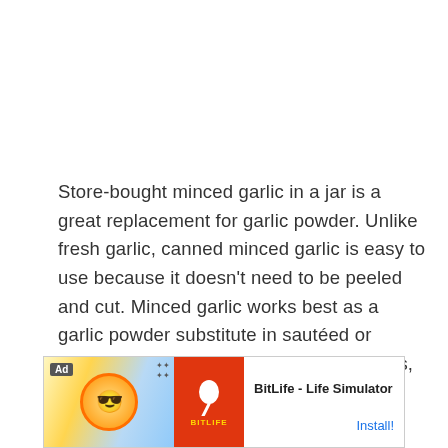Store-bought minced garlic in a jar is a great replacement for garlic powder. Unlike fresh garlic, canned minced garlic is easy to use because it doesn't need to be peeled and cut. Minced garlic works best as a garlic powder substitute in sautéed or simmered foods like one-pot pasta, soups, and sauces.
Use ½ teaspoon of minced garlic for each teaspoon of garlic powder.
[Figure (other): Advertisement banner for BitLife - Life Simulator app with Ad tag, cartoon character graphic, orange BitLife logo section, app name and Install button]